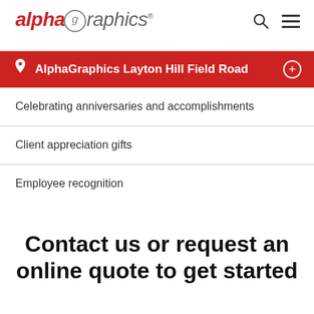[Figure (logo): AlphaGraphics logo with stylized italic text in red and gray]
AlphaGraphics Layton Hill Field Road
Celebrating anniversaries and accomplishments
Client appreciation gifts
Employee recognition
Contact us or request an online quote to get started